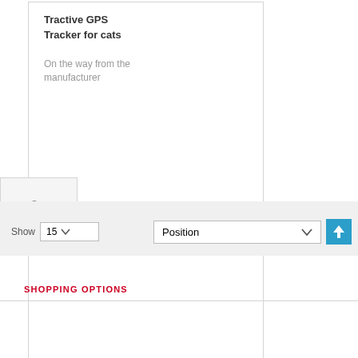Tractive GPS Tracker for cats
On the way from the manufacturer
[Figure (screenshot): Filter/settings icon with three horizontal sliders]
[Figure (screenshot): Toolbar with Show 15 dropdown and Position dropdown with up arrow button]
SHOPPING OPTIONS